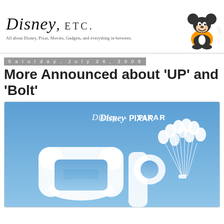[Figure (logo): Disney, ETC. blog header with Disney script logo, subtitle text, and Mickey Mouse illustration on the right]
Saturday, July 26, 2008
More Announced about 'UP' and 'Bolt'
[Figure (photo): Disney Pixar 'UP' movie promotional image showing the stylized UP logo letters in white against a blue sky background, with colorful balloons attached, Disney·Pixar branding at top]